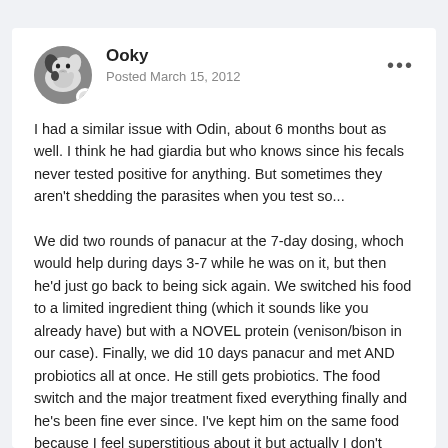Ooky · Posted March 15, 2012
I had a similar issue with Odin, about 6 months bout as well. I think he had giardia but who knows since his fecals never tested positive for anything. But sometimes they aren't shedding the parasites when you test so...
We did two rounds of panacur at the 7-day dosing, whoch would help during days 3-7 while he was on it, but then he'd just go back to being sick again. We switched his food to a limited ingredient thing (which it sounds like you already have) but with a NOVEL protein (venison/bison in our case). Finally, we did 10 days panacur and met AND probiotics all at once. He still gets probiotics. The food switch and the major treatment fixed everything finally and he's been fine ever since. I've kept him on the same food because I feel superstitious about it but actually I don't think he needs it. I have a toddler and therefore he most